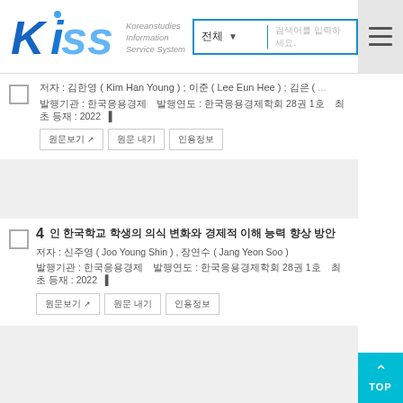[Figure (logo): KISS (Koreanstudies Information Service System) logo with blue stylized text and search bar]
저자 : 김한영 ( Kim Han Young ) ; 이준 ( Lee Eun Hee ) ; 김은 ( ...
발행기관 : 한국응용경제 발행연도 : 한국응용경제학회 28권 1호 최초 등재 : 2022
원문보기  원문 내기  인용정보
4  인 한국학교 학생의 의식 변화와 경제적 이해 능력 향상 방안
저자 : 신주영 ( Joo Young Shin ) , 장연수 ( Jang Yeon Soo )
발행기관 : 한국응용경제 발행연도 : 한국응용경제학회 28권 1호 최초 등재 : 2022
원문보기  원문 내기  인용정보